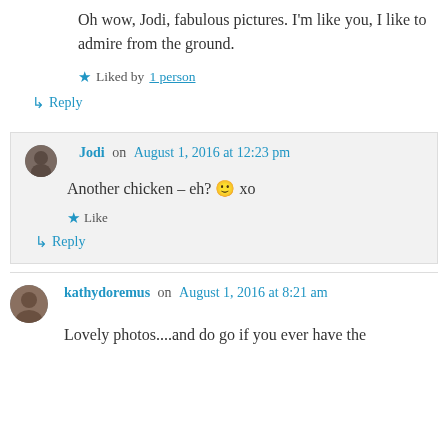Oh wow, Jodi, fabulous pictures. I'm like you, I like to admire from the ground.
★ Liked by 1 person
↳ Reply
Jodi on August 1, 2016 at 12:23 pm
Another chicken – eh? 🙂 xo
★ Like
↳ Reply
kathydoremus on August 1, 2016 at 8:21 am
Lovely photos....and do go if you ever have the